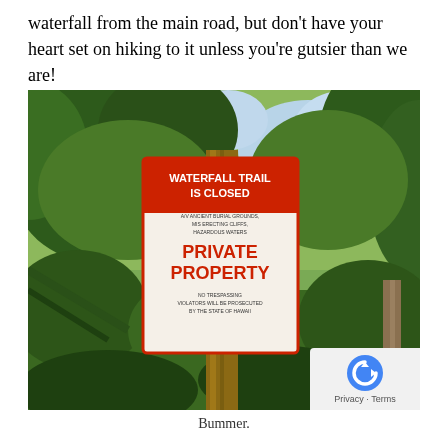waterfall from the main road, but don't have your heart set on hiking to it unless you're gutsier than we are!
[Figure (photo): Photograph of a wooden post in a lush green jungle/forest setting with a red and white sign reading 'WATERFALL TRAIL IS CLOSED' at the top, followed by text about ancient burial grounds and cliffs, then 'PRIVATE PROPERTY' in large red letters, and 'NO TRESPASSING VIOLATORS WILL BE PROSECUTED BY THE STATE OF HAWAII' at the bottom.]
Bummer.